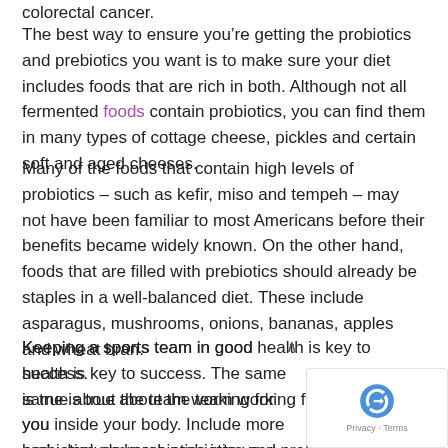colorectal cancer.
The best way to ensure you’re getting the probiotics and prebiotics you want is to make sure your diet includes foods that are rich in both. Although not all fermented foods contain probiotics, you can find them in many types of cottage cheese, pickles and certain soft and aged cheeses.
Many of the foods that contain high levels of probiotics – such as kefir, miso and tempeh – may not have been familiar to most Americans before their benefits became widely known. On the other hand, foods that are filled with prebiotics should already be staples in a well-balanced diet. These include asparagus, mushrooms, onions, bananas, apples and wheat bran.
Keeping a sports team in good health is key to success. The same is true about the team working for you inside your body. Include more probiotics and prebiotics into your diet and see the benefits for yourself.